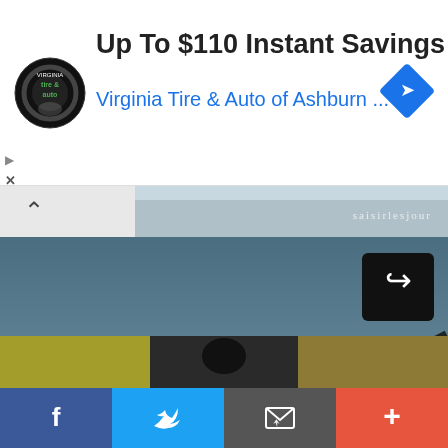[Figure (screenshot): Advertisement banner for Virginia Tire & Auto of Ashburn showing logo, heading 'Up To $110 Instant Savings', and blue navigation arrow icon]
Up To $110 Instant Savings
Virginia Tire & Auto of Ashburn ...
[Figure (photo): A white/grey dappled horse with flowing black mane galloping on a beach or sandy surface, dramatic motion blur background. Watermark 'saisirlesjour' visible at bottom left and top right.]
[Figure (photo): Thumbnail strip at bottom showing partial images of animals/nature]
[Figure (screenshot): Social sharing bar with Facebook (blue), Twitter (cyan), Email (grey), and Plus (red/coral) buttons]